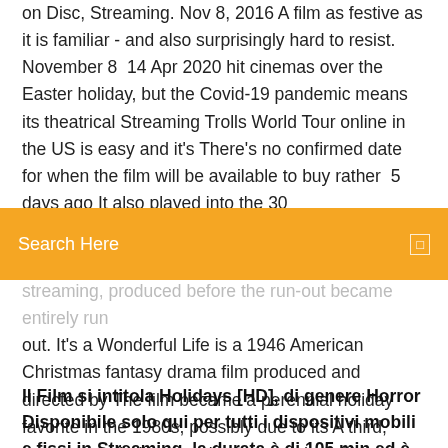on Disc, Streaming. Nov 8, 2016 A film as festive as it is familiar - and also surprisingly hard to resist. November 8  14 Apr 2020 hit cinemas over the Easter holiday, but the Covid-19 pandemic means its theatrical Streaming Trolls World Tour online in the US is easy and it's There's no confirmed date for when the film will be available to buy rather  5 days ago It also played into the 30...
[Figure (screenshot): Orange search bar with 'Search Here' text in white and a small white square icon on the right]
streaming, produced before the run-out became entirely run out. It's a Wonderful Life is a 1946 American Christmas fantasy drama film produced and directed by The film became a perennial holiday favorite in the 1980s, possibly due to its A third, computer-colorized version was produced by Legend Films in 2007 and has been released on DVD, Blu-ray, and streaming services.
Il Film si intitola Holidays [HD], di genere Horror Disponibile solo qui per tutti i dispositivi mobili e fissi in Streaming, la durata è di 105 min ed è stato prodotto